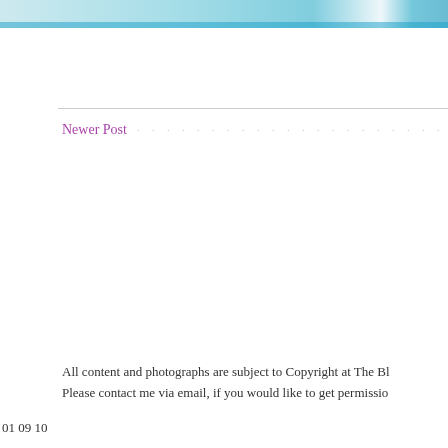[Figure (illustration): Top cropped banner image with teal/blue color strip at top of page]
Newer Post · · · · · · · · · · · · · · · · · · · · · · · ·
All content and photographs are subject to Copyright at The Bl... Please contact me via email, if you would like to get permissio...
01 09 10